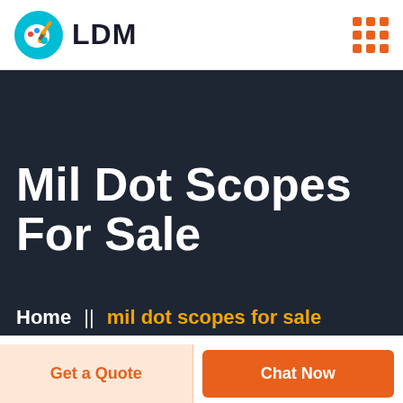[Figure (logo): LDM logo with circular paint palette icon and bold LDM text]
[Figure (other): 3x3 grid of orange squares icon (hamburger/menu icon)]
[Figure (other): Dark navy hero banner background]
Mil Dot Scopes For Sale
Home  ||  mil dot scopes for sale
Get a Quote
Chat Now